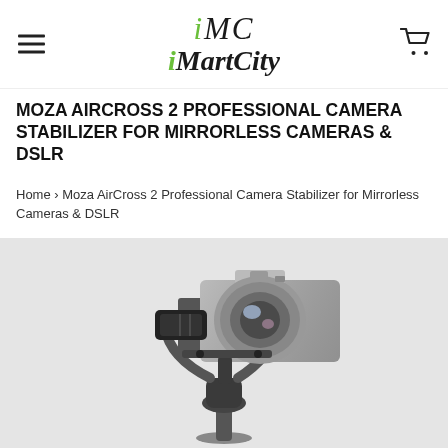iMC iMartCity
MOZA AIRCROSS 2 PROFESSIONAL CAMERA STABILIZER FOR MIRRORLESS CAMERAS & DSLR
Home › Moza AirCross 2 Professional Camera Stabilizer for Mirrorless Cameras & DSLR
[Figure (photo): Moza AirCross 2 camera gimbal stabilizer with a mirrorless camera mounted on it, shown against a light grey background.]